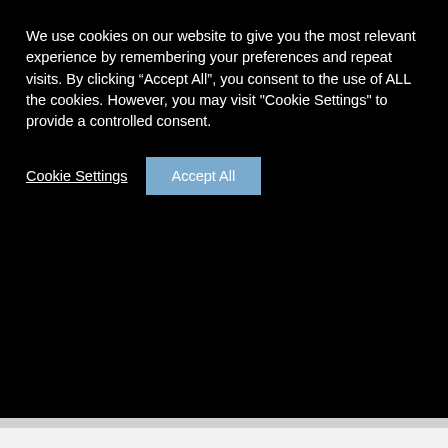We use cookies on our website to give you the most relevant experience by remembering your preferences and repeat visits. By clicking “Accept All”, you consent to the use of ALL the cookies. However, you may visit "Cookie Settings" to provide a controlled consent.
Cookie Settings
Accept All
Victorian scrap. These would be lovely to use in your Christmas Handmade Holiday Card projects or to frame and make a part of your Christmas decor!
ANGELS WITH CHRISTMAS TREES POSTCARDS